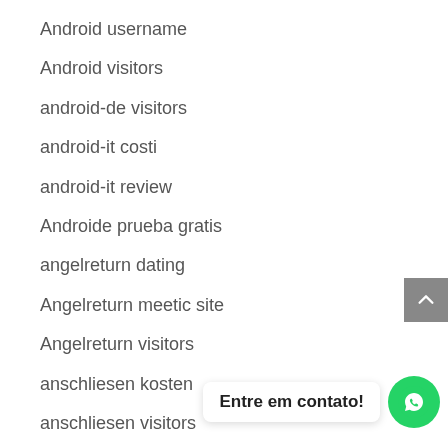Android username
Android visitors
android-de visitors
android-it costi
android-it review
Androide prueba gratis
angelreturn dating
Angelreturn meetic site
Angelreturn visitors
anschliesen kosten
anschliesen visitors
antichat cs rev...
antichat de review
Entre em contato!